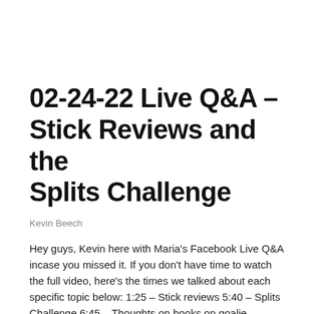02-24-22 Live Q&A – Stick Reviews and the Splits Challenge
Kevin Beech
Hey guys, Kevin here with Maria's Facebook Live Q&A incase you missed it. If you don't have time to watch the full video, here's the times we talked about each specific topic below: 1:25 – Stick reviews 5:40 – Splits Challenge 6:45 – Thoughts on books on goalie development? 9:55 – How often should we…
Continue Reading →